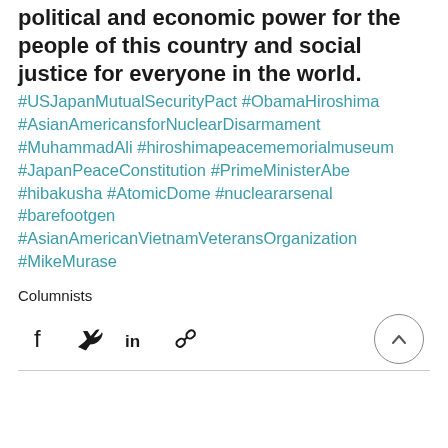movement and the struggles for political and economic power for the people of this country and social justice for everyone in the world.
#USJapanMutualSecurityPact #ObamaHiroshima #AsianAmericansforNuclearDisarmament #MuhammadAli #hiroshimapeacememorialmuseum #JapanPeaceConstitution #PrimeMinisterAbe #hibakusha #AtomicDome #nucleararsenal #barefootgen #AsianAmericanVietnamVeteransOrganization #MikeMurase
Columnists
[Figure (infographic): Social sharing icons: Facebook, Twitter, LinkedIn, link/chain icon, and a back-to-top arrow button in a circle]